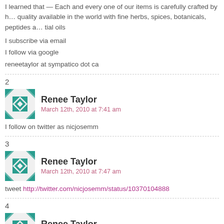I learned that — Each and every one of our items is carefully crafted by h… quality available in the world with fine herbs, spices, botanicals, peptides a… tial oils
I subscribe via email
I follow via google
reneetaylor at sympatico dot ca
2
[Figure (illustration): Teal geometric avatar icon for Renee Taylor]
Renee Taylor
March 12th, 2010 at 7:41 am
I follow on twitter as nicjosemm
3
[Figure (illustration): Teal geometric avatar icon for Renee Taylor]
Renee Taylor
March 12th, 2010 at 7:47 am
tweet http://twitter.com/nicjosemm/status/10370104888
4
[Figure (illustration): Teal geometric avatar icon for Renee Taylor]
Renee Taylor
March 12th, 2010 at 7:47 am
member in forum nicjosemm